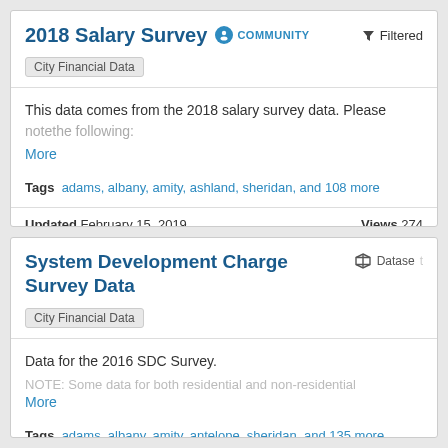2018 Salary Survey
COMMUNITY
Filtered
City Financial Data
This data comes from the 2018 salary survey data. Please notethe following:
More
Tags  adams, albany, amity, ashland, sheridan, and 108 more
Updated February 15, 2019
Views 274
System Development Charge Survey Data
Dataset
City Financial Data
Data for the 2016 SDC Survey.
NOTE: Some data for both residential and non-residential
More
Tags  adams, albany, amity, antelope, sheridan, and 135 more